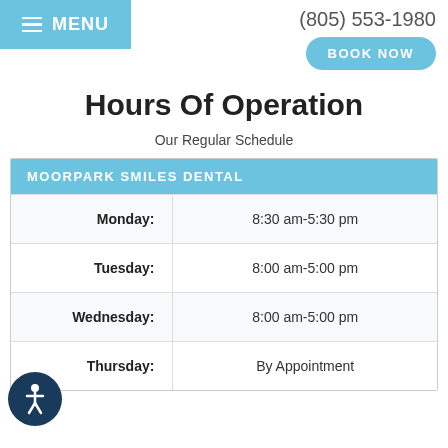MENU | (805) 553-1980 | BOOK NOW
Hours Of Operation
Our Regular Schedule
| MOORPARK SMILES DENTAL |  |
| --- | --- |
| Monday: | 8:30 am-5:30 pm |
| Tuesday: | 8:00 am-5:00 pm |
| Wednesday: | 8:00 am-5:00 pm |
| Thursday: | By Appointment |